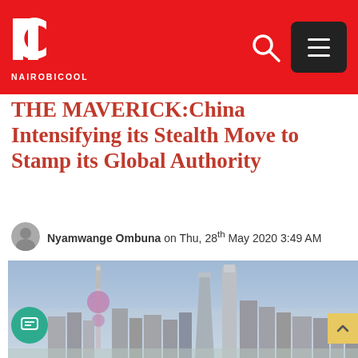NAIROBICOOL
THE MAVERICK:China Intensifying its Stealth Move to Stamp its Global Authority
Nyamwange Ombuna on Thu, 28th May 2020 3:49 AM
[Figure (photo): Shanghai city skyline with the Oriental Pearl Tower and modern skyscrapers against a blue sky]